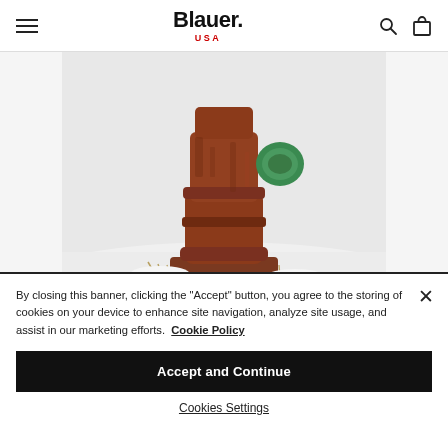Blauer. USA
[Figure (photo): Close-up photo of a rusty old fire hydrant with a green cap/fitting, surrounded by snow and dry grass at its base. White background behind the hydrant.]
By closing this banner, clicking the "Accept" button, you agree to the storing of cookies on your device to enhance site navigation, analyze site usage, and assist in our marketing efforts. Cookie Policy
Accept and Continue
Cookies Settings